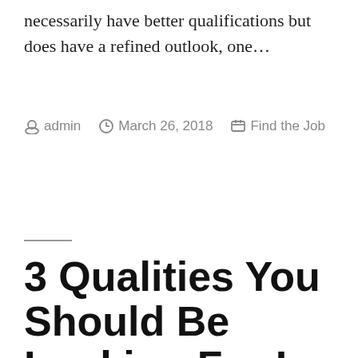necessarily have better qualifications but does have a refined outlook, one…
by admin   March 26, 2018   Find the Job
3 Qualities You Should Be Looking For In Your New Employer